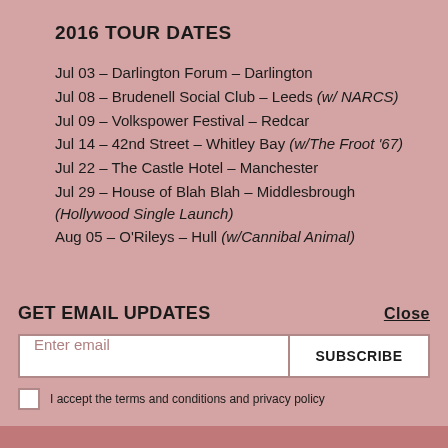2016 TOUR DATES
Jul 03 – Darlington Forum – Darlington
Jul 08 – Brudenell Social Club – Leeds (w/ NARCS)
Jul 09 – Volkspower Festival – Redcar
Jul 14 – 42nd Street – Whitley Bay (w/The Froot '67)
Jul 22 – The Castle Hotel – Manchester
Jul 29 – House of Blah Blah – Middlesbrough (Hollywood Single Launch)
Aug 05 – O'Rileys – Hull (w/Cannibal Animal)
GET EMAIL UPDATES
Close
Enter email
SUBSCRIBE
I accept the terms and conditions and privacy policy